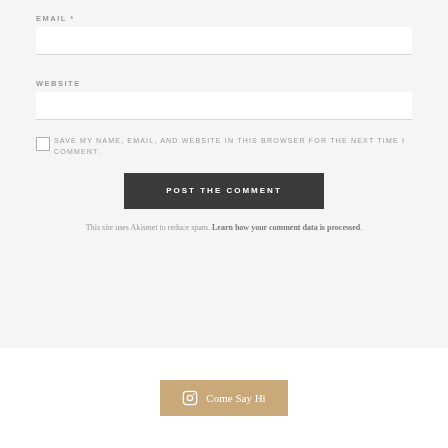EMAIL *
WEBSITE
SAVE MY NAME, EMAIL, AND WEBSITE IN THIS BROWSER FOR THE NEXT TIME I COMMENT.
POST THE COMMENT
This site uses Akismet to reduce spam. Learn how your comment data is processed.
Come Say Hi